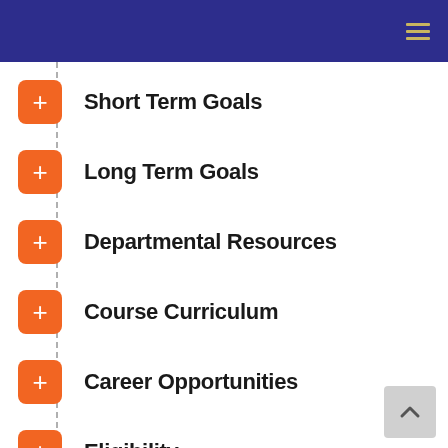Short Term Goals
Long Term Goals
Departmental Resources
Course Curriculum
Career Opportunities
Eligibility
CLASS INCHARGE DETAILS